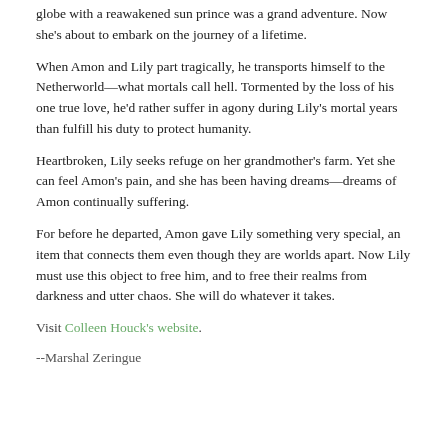globe with a reawakened sun prince was a grand adventure. Now she’s about to embark on the journey of a lifetime.
When Amon and Lily part tragically, he transports himself to the Netherworld—what mortals call hell. Tormented by the loss of his one true love, he’d rather suffer in agony during Lily’s mortal years than fulfill his duty to protect humanity.
Heartbroken, Lily seeks refuge on her grandmother’s farm. Yet she can feel Amon’s pain, and she has been having dreams—dreams of Amon continually suffering.
For before he departed, Amon gave Lily something very special, an item that connects them even though they are worlds apart. Now Lily must use this object to free him, and to free their realms from darkness and utter chaos. She will do whatever it takes.
Visit Colleen Houck’s website.
--Marshal Zeringue